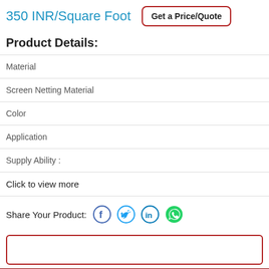350 INR/Square Foot
Get a Price/Quote
Product Details:
| Material |
| Screen Netting Material |
| Color |
| Application |
| Supply Ability : |
| Click to view more |
Share Your Product: